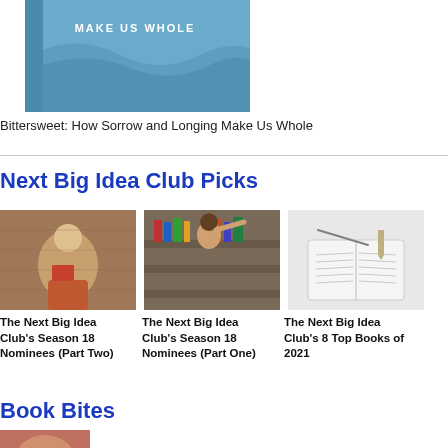[Figure (photo): Book cover: Bittersweet: How Sorrow and Longing Make Us Whole, partial top view]
Bittersweet: How Sorrow and Longing Make Us Whole
Next Big Idea Club Picks
[Figure (photo): Person sitting outdoors reading a book]
The Next Big Idea Club's Season 18 Nominees (Part Two)
[Figure (photo): Woman standing in a library among bookshelves]
The Next Big Idea Club's Season 18 Nominees (Part One)
[Figure (photo): Open book on white surface]
The Next Big Idea Club's 8 Top Books of 2021
Book Bites
[Figure (photo): Partial image of a person, cropped at bottom of page]